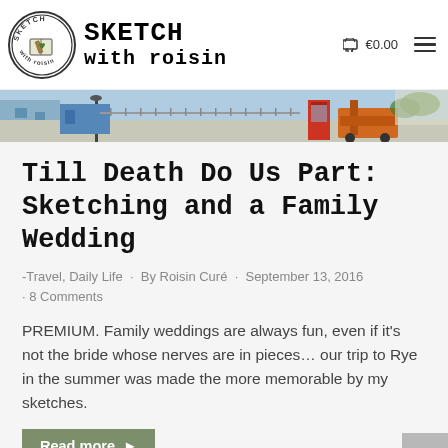SKETCH with roisin  €0.00
[Figure (photo): Cropped outdoor street scene with vehicles and buildings, colorful photo strip]
Till Death Do Us Part: Sketching and a Family Wedding
-Travel, Daily Life · By Roisin Curé · September 13, 2016 · 8 Comments
PREMIUM. Family weddings are always fun, even if it's not the bride whose nerves are in pieces… our trip to Rye in the summer was made the more memorable by my sketches.
Read more ▶